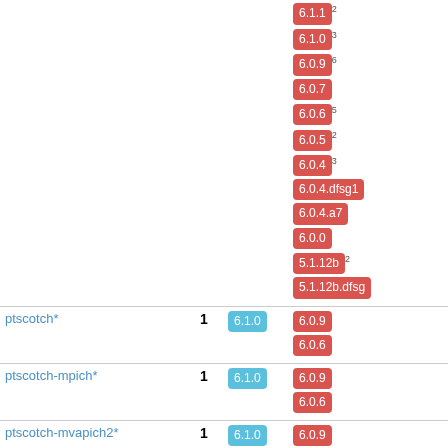| Package | Count | Current | Older versions | Score |
| --- | --- | --- | --- | --- |
|  |  |  | 6.1.1²  6.1.0³  6.0.9⁶  6.0.7  6.0.6⁵  6.0.5²  6.0.4³  6.0.4.dfsg1  6.0.4.a7  6.0.0  5.1.12b²  5.1.12b.dfsg |  |
| ptscotch* | 1 | 6.1.0 | 6.0.9  6.0.6 | 90.3 |
| ptscotch-mpich* | 1 | 6.1.0 | 6.0.9  6.0.6 | 90.3 |
| ptscotch-mvapich2* | 1 | 6.1.0 | 6.0.9  6.0.6 | 90.3 |
| ptscotch-openmpi2* | 1 | 6.1.0 | 6.0.9  6.0.6 | 90.3 |